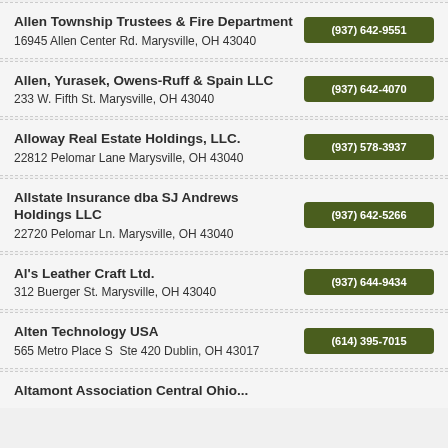Allen Township Trustees & Fire Department
16945 Allen Center Rd. Marysville, OH 43040
(937) 642-9551
Allen, Yurasek, Owens-Ruff & Spain LLC
233 W. Fifth St. Marysville, OH 43040
(937) 642-4070
Alloway Real Estate Holdings, LLC.
22812 Pelomar Lane Marysville, OH 43040
(937) 578-3937
Allstate Insurance dba SJ Andrews Holdings LLC
22720 Pelomar Ln. Marysville, OH 43040
(937) 642-5266
Al's Leather Craft Ltd.
312 Buerger St. Marysville, OH 43040
(937) 644-9434
Alten Technology USA
565 Metro Place S  Ste 420 Dublin, OH 43017
(614) 395-7015
Altamont Association Central Ohio...